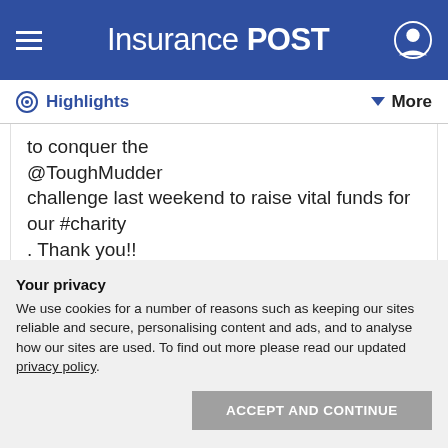Insurance POST
Highlights
to conquer the @ToughMudder challenge last weekend to raise vital funds for our #charity
. Thank you!!
#FundraisingFriday
#TeamBrompton
@benefactgroup
@BromptonHeart
RT
pic.twitter.com/Qi3SzRfSvf
Your privacy
We use cookies for a number of reasons such as keeping our sites reliable and secure, personalising content and ads, and to analyse how our sites are used. To find out more please read our updated privacy policy.
ACCEPT AND CONTINUE